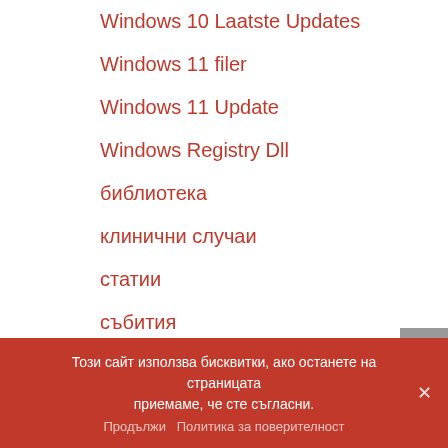Windows 10 Laatste Updates
Windows 11 filer
Windows 11 Update
Windows Registry Dll
библиотека
клинични случаи
статии
събития
Meta
Този сайт използва бисквитки, ако останете на страницата приемаме, че сте съгласни.
Продължи   Политика за поверителност